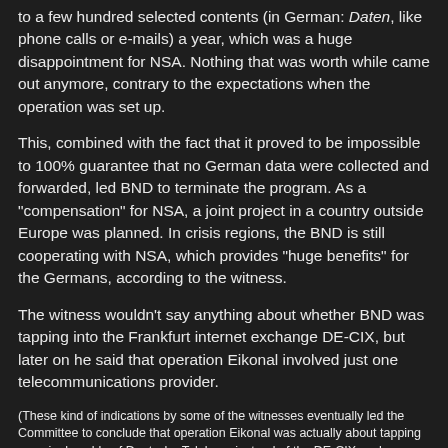to a few hundred selected contents (in German: Daten, like phone calls or e-mails) a year, which was a huge disappointment for NSA. Nothing that was worth while came out anymore, contrary to the expectations when the operation was set up.
This, combined with the fact that it proved to be impossible to 100% guarantee that no German data were collected and forwarded, led BND to terminate the program. As a "compensation" for NSA, a joint project in a country outside Europe was planned. In crisis regions, the BND is still cooperating with NSA, which provides "huge benefits" for the Germans, according to the witness.
The witness wouldn't say anything about whether BND was tapping into the Frankfurt internet exchange DE-CIX, but later on he said that operation Eikonal involved just one telecommunications provider.
(These kind of indications by some of the witnesses eventually led the Committee to conclude that operation Eikonal was actually about tapping one single cable of Deutsche Telekom, instead of the DE-CIX exchange